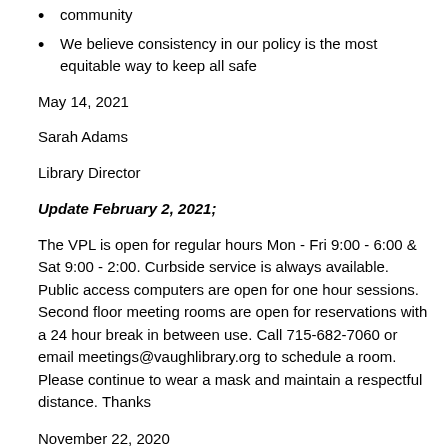community
We believe consistency in our policy is the most equitable way to keep all safe
May 14, 2021
Sarah Adams
Library Director
Update February 2, 2021;
The VPL is open for regular hours Mon - Fri 9:00 - 6:00 & Sat 9:00 - 2:00.  Curbside service is always available. Public access computers are open for one hour sessions.  Second floor meeting rooms are open for reservations with a 24 hour break in between use.  Call 715-682-7060 or email meetings@vaughlibrary.org to schedule a room.  Please continue to wear a mask and maintain a respectful distance.  Thanks
November 22, 2020